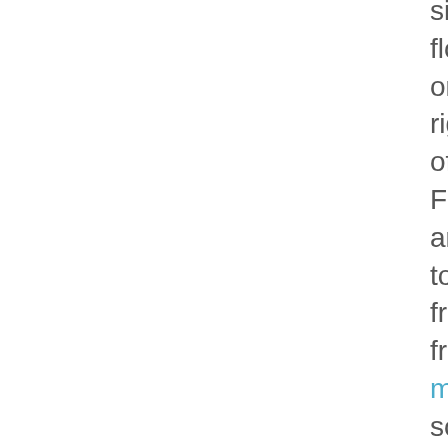site that's floating around on the Internet right now. It's offered by Freepay.com and it allows you to get either a free iPod or a free flatscreen monitor. It sounds absolutely insane I know, but there is a catch. You have to sign up 5 friends, and complete one of their offers. The offers vary depending on your country. Myself I chose to do the Video Professor trial, which only requires $8.95 USD to ship it to me, then if I return it within 10